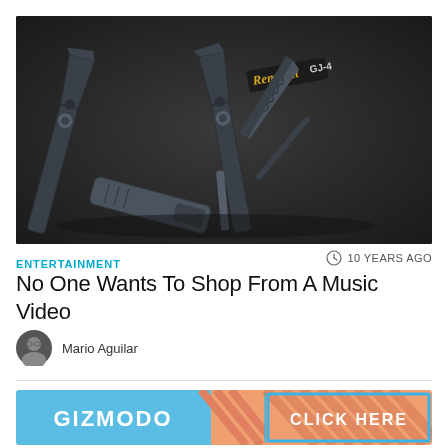[Figure (photo): Photo of a black multi-tool (pliers/knife combo) labeled RemGrit GJ-4, displayed open on a dark background]
ENTERTAINMENT
10 YEARS AGO
No One Wants To Shop From A Music Video
Mario Aguilar
[Figure (infographic): Gizmodo advertisement banner with blue background on left showing GIZMODO text, diagonal stripe pattern in middle, and CLICK HERE button on right with light blue background]